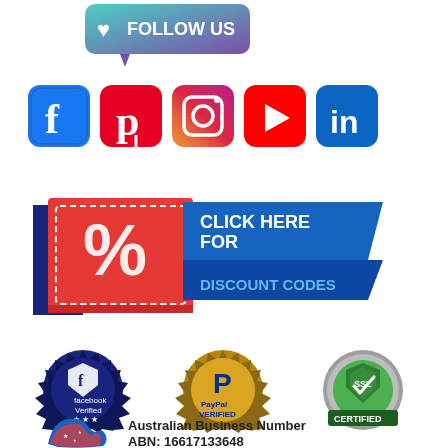[Figure (illustration): Follow Us speech bubble badge with heart icon, teal and purple gradient]
[Figure (illustration): Social media icons row: Facebook, Pinterest, Instagram, YouTube, LinkedIn]
[Figure (illustration): Discount coupon banner: red percent coupon ticket with blue banner 'CLICK HERE FOR DISCOUNT CODES']
[Figure (illustration): Three trust badges: Facebook Verified (blue seal), PayPal Verified (gold seal), SSL Certified (green shield)]
[Figure (illustration): Australian flag map icon with text 'Australian Business Number ABN: 16617133648']